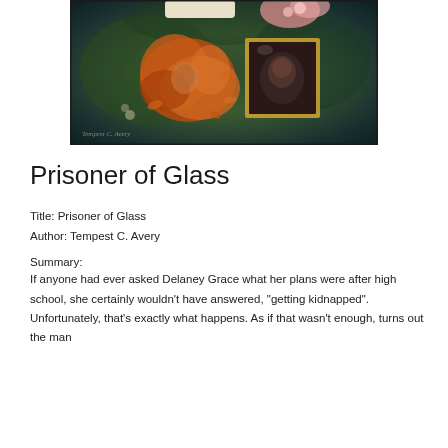[Figure (illustration): Book cover art for 'Prisoner of Glass' by Tempest C. Avery. Shows a top-down view of a figure with flowing red/auburn hair surrounded by orange petals, lying on a dark green/teal textured background. A gold-framed mirror or portrait sits nearby showing another face. White flowers visible at top. Watermark text reads 'Tempest C. Avery' in cursive at bottom left.]
Prisoner of Glass
Title: Prisoner of Glass
Author: Tempest C. Avery
Summary:
If anyone had ever asked Delaney Grace what her plans were after high school, she certainly wouldn't have answered, "getting kidnapped". Unfortunately, that's exactly what happens. As if that wasn't enough, turns out the man